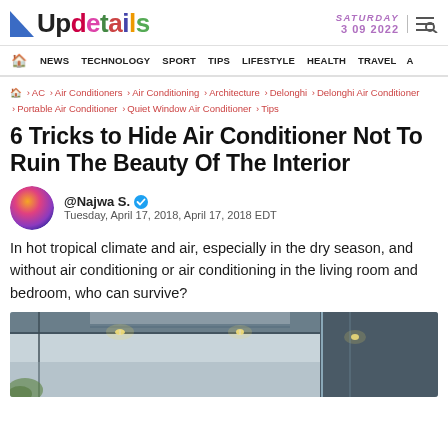Updetails | SATURDAY 3 09 2022
NEWS TECHNOLOGY SPORT TIPS LIFESTYLE HEALTH TRAVEL
🏠 › AC › Air Conditioners › Air Conditioning › Architecture › Delonghi › Delonghi Air Conditioner › Portable Air Conditioner › Quiet Window Air Conditioner › Tips
6 Tricks to Hide Air Conditioner Not To Ruin The Beauty Of The Interior
@Najwa S. ✓ Tuesday, April 17, 2018, April 17, 2018 EDT
In hot tropical climate and air, especially in the dry season, and without air conditioning or air conditioning in the living room and bedroom, who can survive?
[Figure (photo): Interior photo showing a ceiling with recessed air conditioning vent, track lighting with spotlights, and a glass partition wall in the background]